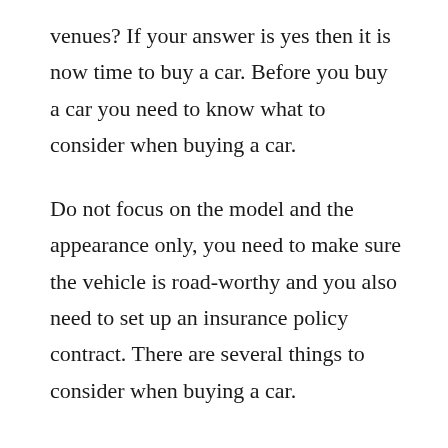venues? If your answer is yes then it is now time to buy a car. Before you buy a car you need to know what to consider when buying a car.
Do not focus on the model and the appearance only, you need to make sure the vehicle is road-worthy and you also need to set up an insurance policy contract. There are several things to consider when buying a car.
See also: 10 Tips On How To Organize Your Closet